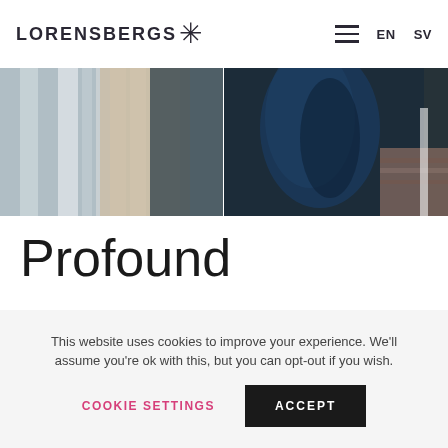LORENSBERGS* EN SV
[Figure (photo): Photograph of clothing items including shirts and fabric in a dimly-lit setting with wooden floor, split-view showing two close-up shots]
Profound
Lorensbergs was founded in 1995 with a passion to combine outstanding learning
This website uses cookies to improve your experience. We'll assume you're ok with this, but you can opt-out if you wish. COOKIE SETTINGS ACCEPT